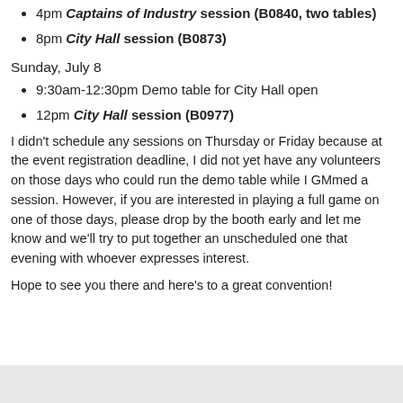4pm Captains of Industry session (B0840, two tables)
8pm City Hall session (B0873)
Sunday, July 8
9:30am-12:30pm Demo table for City Hall open
12pm City Hall session (B0977)
I didn't schedule any sessions on Thursday or Friday because at the event registration deadline, I did not yet have any volunteers on those days who could run the demo table while I GMmed a session. However, if you are interested in playing a full game on one of those days, please drop by the booth early and let me know and we'll try to put together an unscheduled one that evening with whoever expresses interest.
Hope to see you there and here's to a great convention!